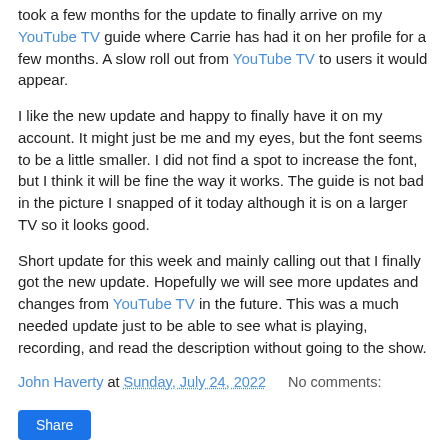took a few months for the update to finally arrive on my YouTube TV guide where Carrie has had it on her profile for a few months. A slow roll out from YouTube TV to users it would appear.
I like the new update and happy to finally have it on my account. It might just be me and my eyes, but the font seems to be a little smaller. I did not find a spot to increase the font, but I think it will be fine the way it works. The guide is not bad in the picture I snapped of it today although it is on a larger TV so it looks good.
Short update for this week and mainly calling out that I finally got the new update. Hopefully we will see more updates and changes from YouTube TV in the future. This was a much needed update just to be able to see what is playing, recording, and read the description without going to the show.
John Haverty at Sunday, July 24, 2022    No comments:
Share